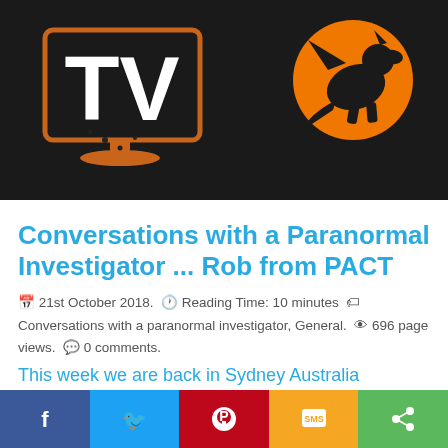[Figure (illustration): Dark background banner image with white 'TV' text logo on the left and an orange dragon silhouette on an orange circle on the right]
Conversations with a Paranormal Investigator ... Rob from PACT
📅 21st October 2018. 🕐 Reading Time: 10 minutes 🏷 Conversations with a paranormal investigator, General. 👁 696 page views. 💬 0 comments.
This week we are back in Sydney Australia
[Figure (infographic): Social sharing bar with Facebook (blue), Twitter (light blue), Pinterest (red), SMS (yellow/orange), and Share (green) buttons]